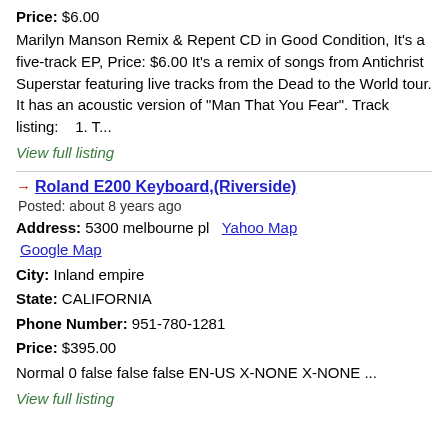Price: $6.00
Marilyn Manson Remix & Repent CD in Good Condition, It's a five-track EP, Price: $6.00 It's a remix of songs from Antichrist Superstar featuring live tracks from the Dead to the World tour. It has an acoustic version of "Man That You Fear". Track listing:    1. T...
View full listing
Roland E200 Keyboard,(Riverside)
Posted: about 8 years ago
Address: 5300 melbourne pl  Yahoo Map  Google Map
City: Inland empire
State: CALIFORNIA
Phone Number: 951-780-1281
Price: $395.00
Normal 0 false false false EN-US X-NONE X-NONE ...
View full listing